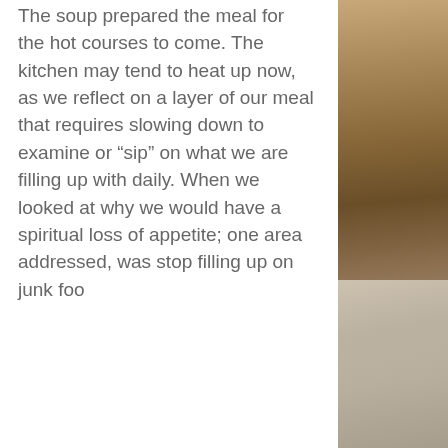The soup prepared the meal for the hot courses to come. The kitchen may tend to heat up now, as we reflect on a layer of our meal that requires slowing down to examine or “sip” on what we are filling up with daily. When we looked at why we would have a spiritual loss of appetite; one area addressed, was stop filling up on junk foo
«  ‹  1/7  ›  »
[Figure (photo): Open Bible with purple bookmark ribbon, blurred background]
ARCHIVE
August 2022 (13)
July 2022 (31)
June 2022 (30)
May 2022 (28)